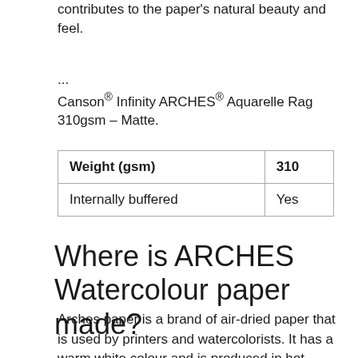contributes to the paper's natural beauty and feel.
...
Canson® Infinity ARCHES® Aquarelle Rag 310gsm – Matte.
| Weight (gsm) | 310 |
| Internally buffered | Yes |
Where is ARCHES Watercolour paper made?
Arches paper is a brand of air-dried paper that is used by printers and watercolorists. It has a warm white colour and is produced in hot-pressed, cold-pressed, and rough